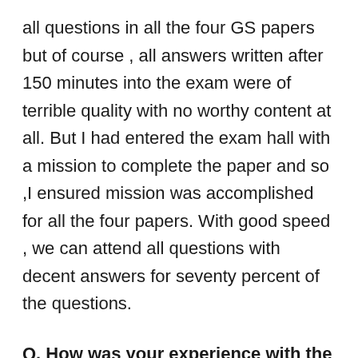all questions in all the four GS papers but of course , all answers written after 150 minutes into the exam were of terrible quality with no worthy content at all. But I had entered the exam hall with a mission to complete the paper and so ,I ensured mission was accomplished for all the four papers. With good speed , we can attend all questions with decent answers for seventy percent of the questions.
Q. How was your experience with the 'fixed